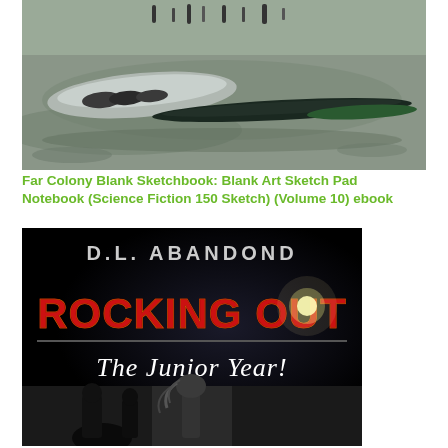[Figure (photo): Photograph of elongated dark spacecraft or boat-like objects lying on a rocky/sandy grey lunar or alien surface, with people visible in the background near the top.]
Far Colony Blank Sketchbook: Blank Art Sketch Pad Notebook (Science Fiction 150 Sketch) (Volume 10) ebook
[Figure (photo): Book cover image for 'Rocking Out: The Junior Year!' by D.L. Abandond. Black background with bold metallic red/gold 'ROCKING OUT' text in heavy metal style, white serif text 'The Junior Year!' below, and silhouetted figures at the bottom with a bright lens flare.]